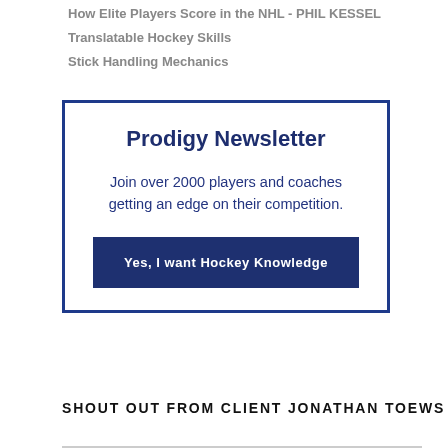How Elite Players Score in the NHL - PHIL KESSEL
Translatable Hockey Skills
Stick Handling Mechanics
Prodigy Newsletter
Join over 2000 players and coaches getting an edge on their competition.
Yes, I want Hockey Knowledge
SHOUT OUT FROM CLIENT JONATHAN TOEWS